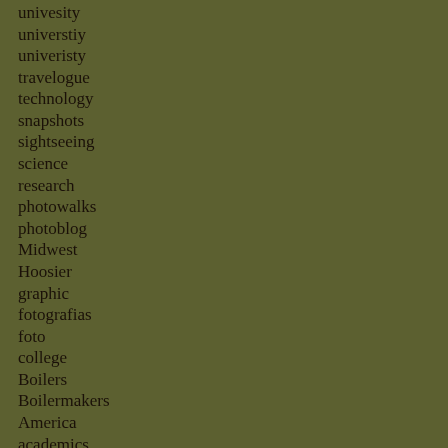univesity
universtiy
univeristy
travelogue
technology
snapshots
sightseeing
science
research
photowalks
photoblog
Midwest
Hoosier
graphic
fotografias
foto
college
Boilers
Boilermakers
America
academics